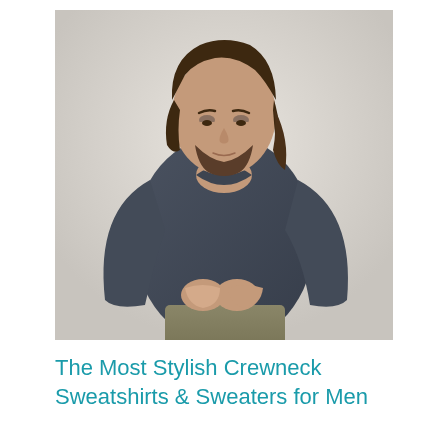[Figure (photo): A man with medium-length brown hair and beard, wearing a dark navy/charcoal crewneck sweatshirt and olive/khaki pants, looking downward while adjusting his cuffs, photographed against a light gray background.]
The Most Stylish Crewneck Sweatshirts & Sweaters for Men